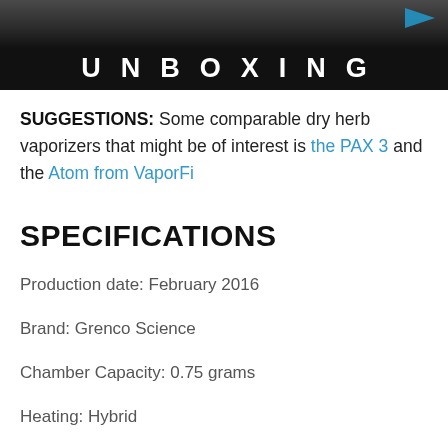[Figure (photo): Dark banner image with the word UNBOXING in large white spaced capital letters on a black background, with a dark photo visible at the top]
SUGGESTIONS: Some comparable dry herb vaporizers that might be of interest is the PAX 3 and the Atom from VaporFi
SPECIFICATIONS
Production date: February 2016
Brand: Grenco Science
Chamber Capacity: 0.75 grams
Heating: Hybrid
Heating Source: Battery heating